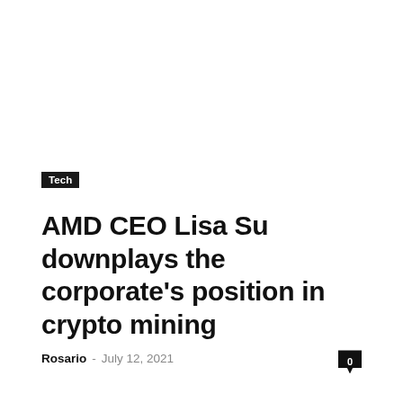Tech
AMD CEO Lisa Su downplays the corporate's position in crypto mining
Rosario - July 12, 2021